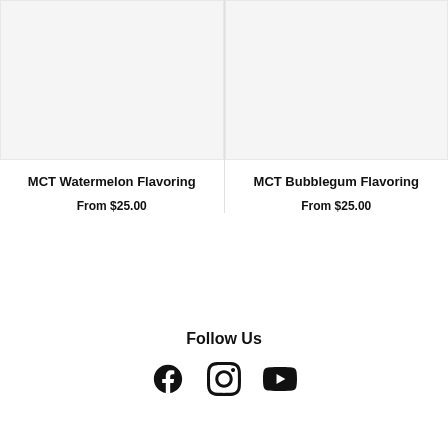[Figure (photo): Product image placeholder for MCT Watermelon Flavoring - light gray background]
MCT Watermelon Flavoring
From $25.00
[Figure (photo): Product image placeholder for MCT Bubblegum Flavoring - light gray background]
MCT Bubblegum Flavoring
From $25.00
Follow Us
[Figure (infographic): Social media icons: Facebook, Instagram, YouTube]